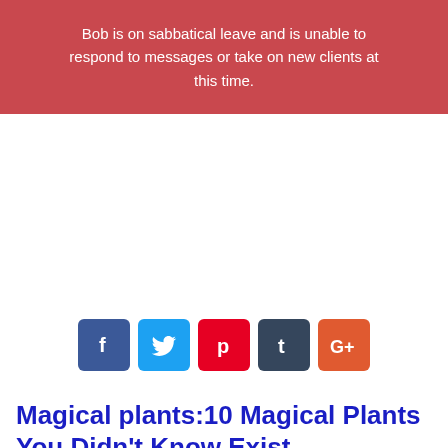Bob is on sabbatical leave and is unable to respond to messages or take on new clients at this time.
[Figure (infographic): Row of five social media share buttons: Facebook (f), Twitter (bird), Pinterest (p), Tumblr (t), Google+ (G+)]
Magical plants:10 Magical Plants You Didn't Know Exist